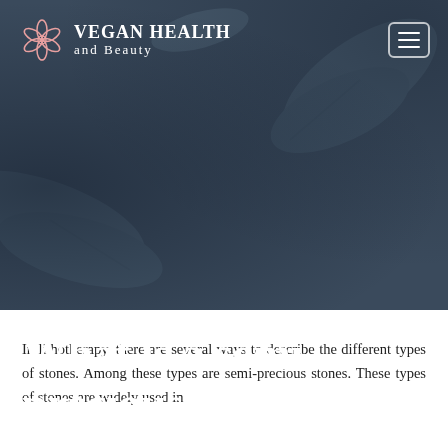VEGAN HEALTH and Beauty
What is a semi-precious stone?
In lithotherapy, there are several ways to describe the different types of stones. Among these types are semi-precious stones. These types of stones are widely used in